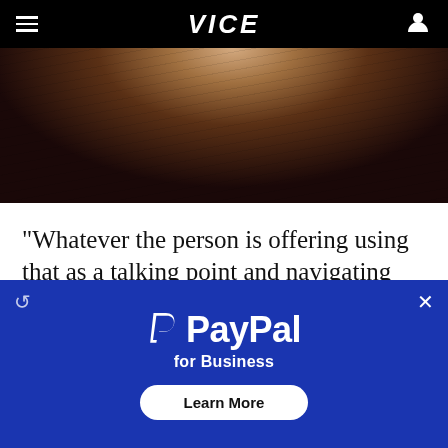VICE
[Figure (photo): Partial photo of a person with dark curly hair, cropped to show only the top portion of their head and face]
“Whatever the person is offering using that as a talking point and navigating through that will probably be a lot more helpful,” Khan said.
Another thing to do is expand your social circle and knowledge base—without tokenizing your
[Figure (other): PayPal for Business advertisement banner with blue background, PayPal logo, and Learn More button]